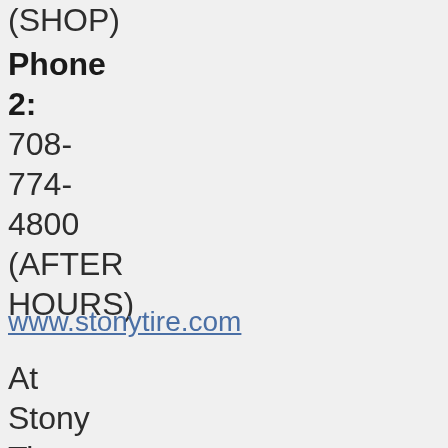(SHOP)
Phone 2: 708-774-4800 (AFTER HOURS)
www.stonytire.com
At Stony Tire, we understand the